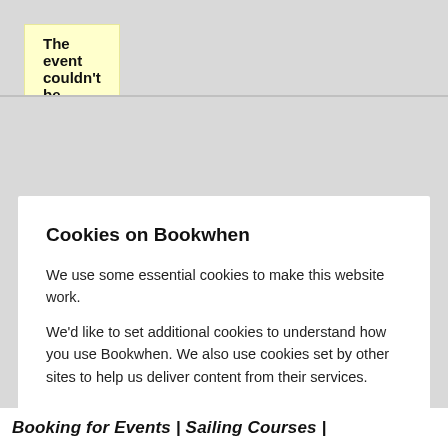The event couldn't be found
Cookies on Bookwhen
We use some essential cookies to make this website work.
We'd like to set additional cookies to understand how you use Bookwhen. We also use cookies set by other sites to help us deliver content from their services.
Accept additional cookies
Manage cookies
Booking for Events | Sailing Courses |